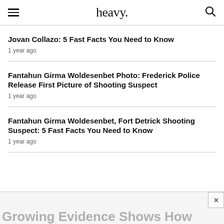heavy.
Jovan Collazo: 5 Fast Facts You Need to Know
1 year ago
Fantahun Girma Woldesenbet Photo: Frederick Police Release First Picture of Shooting Suspect
1 year ago
Fantahun Girma Woldesenbet, Fort Detrick Shooting Suspect: 5 Fast Facts You Need to Know
1 year ago
Growing Evidence Shows How